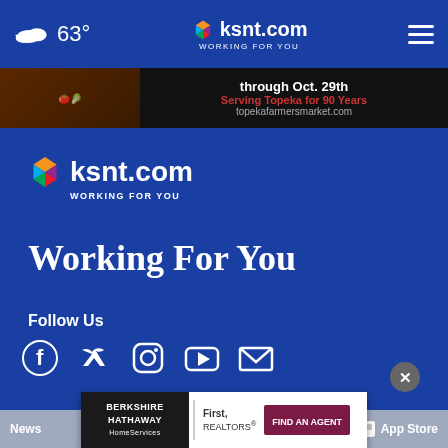63° ksnt.com WORKING FOR YOU
[Figure (screenshot): Advertisement banner for Topeka Farmers Market: through Oct. 29th, Serving Topeka for 90 Years, topekafarmersmarket.com]
[Figure (logo): ksnt.com Working For You NBC peacock logo]
Working For You
Follow Us
[Figure (infographic): Social media icons: Facebook, Twitter, Instagram, YouTube, Email]
News ... App Store App Store
[Figure (screenshot): Berkshire Hathaway HomeServices | First, REALTORS — FIND AN AGENT advertisement overlay]